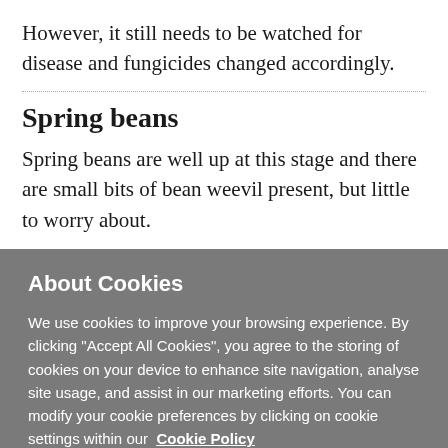However, it still needs to be watched for disease and fungicides changed accordingly.
Spring beans
Spring beans are well up at this stage and there are small bits of bean weevil present, but little to worry about.
About Cookies
We use cookies to improve your browsing experience. By clicking “Accept All Cookies”, you agree to the storing of cookies on your device to enhance site navigation, analyse site usage, and assist in our marketing efforts. You can modify your cookie preferences by clicking on cookie settings within our Cookie Policy
Cookie Settings
Accept All Cookies